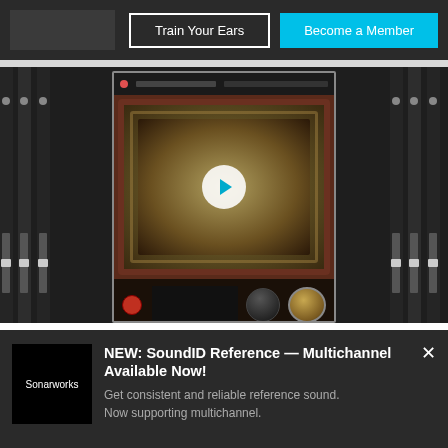[Figure (screenshot): Website navigation bar with 'Train Your Ears' button (outlined) and 'Become a Member' button (cyan), with dark logo area on the left]
[Figure (screenshot): Video thumbnail showing a vintage audio plugin (ornate TV-style interface) centered over a DAW mixer, with a white circular play button overlay]
Using Effects to Create a Vintage Trumpet Vibe in a Mix
[Figure (screenshot): Sonarworks popup banner: 'NEW: SoundID Reference — Multichannel Available Now! Get consistent and reliable reference sound. Now supporting multichannel.' with Sonarworks logo and close button]